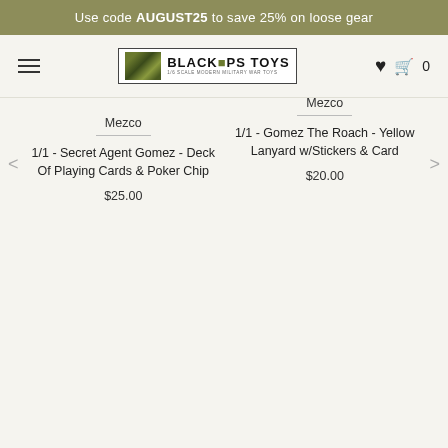Use code AUGUST25 to save 25% on loose gear
[Figure (logo): Black Ops Toys logo - 1/6 scale modern military war toys]
Mezco
1/1 - Secret Agent Gomez - Deck Of Playing Cards & Poker Chip
$25.00
Mezco
1/1 - Gomez The Roach - Yellow Lanyard w/Stickers & Card
$20.00